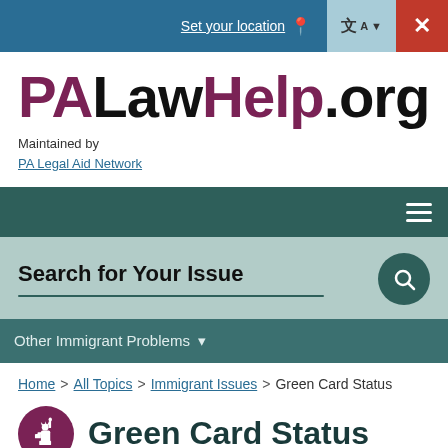Set your location | Language | Close
PALawHelp.org
Maintained by
PA Legal Aid Network
[Figure (screenshot): Navigation bar with hamburger menu icon on dark teal background]
[Figure (screenshot): Search bar area with label 'Search for Your Issue' and search button on light teal background]
Other Immigrant Problems
Home > All Topics > Immigrant Issues > Green Card Status
Green Card Status